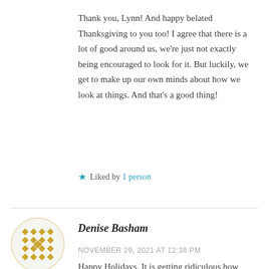Thank you, Lynn! And happy belated Thanksgiving to you too! I agree that there is a lot of good around us, we're just not exactly being encouraged to look for it. But luckily, we get to make up our own minds about how we look at things. And that's a good thing!
★ Liked by 1 person
[Figure (illustration): Avatar icon for Denise Basham — decorative golden geometric pattern in a circle]
Denise Basham
NOVEMBER 29, 2021 AT 12:38 PM
Happy Holidays. It is getting ridiculous how